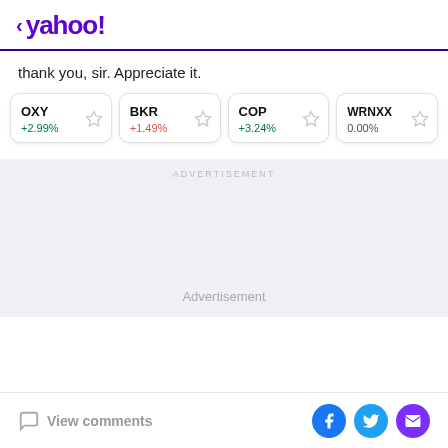< yahoo!
thank you, sir. Appreciate it.
| Ticker | Change | Starred |
| --- | --- | --- |
| OXY | +2.99% |  |
| BKR | +1.49% |  |
| COP | +3.24% |  |
| WRNXX | 0.00% |  |
ADVERTISEMENT
Advertisement
View comments